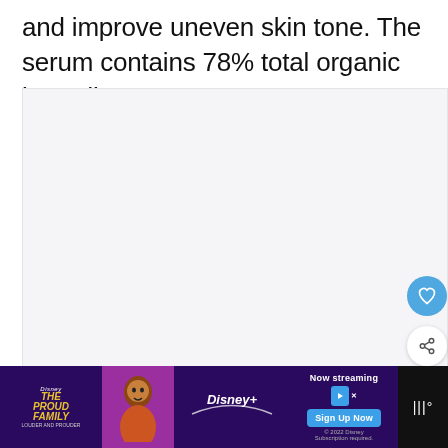and improve uneven skin tone. The serum contains 78% total organic ingredients.
[Figure (photo): Large light gray placeholder image area with social action buttons (heart/like and share) on the right side, and a 'What's Next' card showing '6 Best Korean Vitamin C...' in the bottom right corner.]
[Figure (other): Disney+ advertisement banner showing 'The Proud Family Louder and Prouder' with character illustration, Disney+ logo, 'Now streaming' text, 'Sign Up Now' button, and navigation icons.]